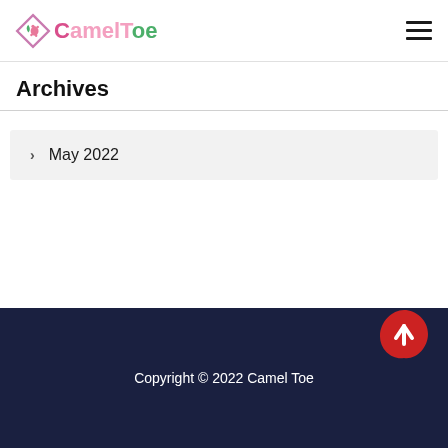CamelToe
Archives
> May 2022
Copyright © 2022 Camel Toe